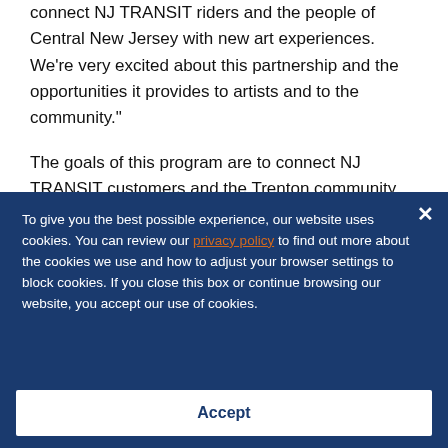connect NJ TRANSIT riders and the people of Central New Jersey with new art experiences. We're very excited about this partnership and the opportunities it provides to artists and to the community."

The goals of this program are to connect NJ TRANSIT customers and the Trenton community with new and exciting experiences in their daily lives and to provide New Jersey
To give you the best possible experience, our website uses cookies. You can review our privacy policy to find out more about the cookies we use and how to adjust your browser settings to block cookies. If you close this box or continue browsing our website, you accept our use of cookies.
Accept